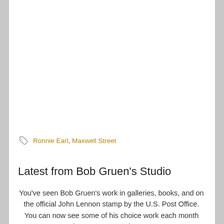Ronnie Earl, Maxwell Street
Latest from Bob Gruen's Studio
You've seen Bob Gruen's work in galleries, books, and on the official John Lennon stamp by the U.S. Post Office. You can now see some of his choice work each month here on Boomersit.com!